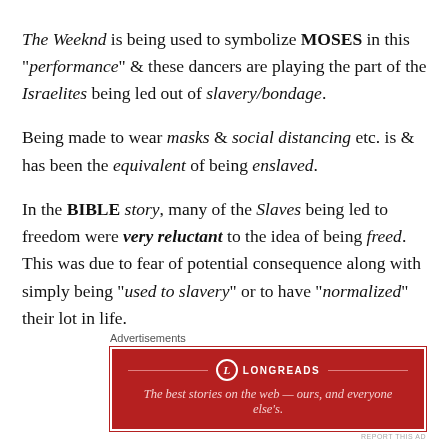The Weeknd is being used to symbolize MOSES in this "performance" & these dancers are playing the part of the Israelites being led out of slavery/bondage.
Being made to wear masks & social distancing etc. is & has been the equivalent of being enslaved.
In the BIBLE story, many of the Slaves being led to freedom were very reluctant to the idea of being freed. This was due to fear of potential consequence along with simply being "used to slavery" or to have "normalized" their lot in life.
Advertisements
[Figure (other): Longreads advertisement banner with red background. Logo with L in circle, brand name LONGREADS, tagline: The best stories on the web — ours, and everyone else's.]